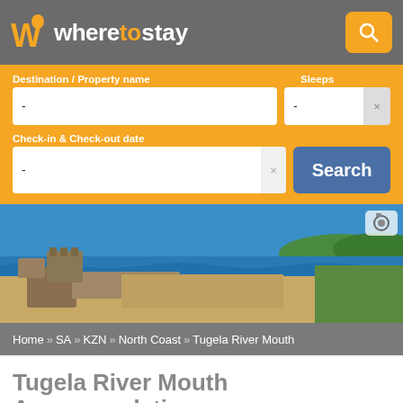wheretostay
Destination / Property name
Sleeps
Check-in & Check-out date
Search
[Figure (photo): Coastal scene with stone jetty/fort, sandy beach, blue ocean waves, and green hills in background. Tugela River Mouth area, KZN South Africa.]
Home» SA» KZN» North Coast» Tugela River Mouth
Tugela River Mouth Accommodation
▼ Browse By Category
[Figure (map): Map strip showing partial map of the Tugela River Mouth area]